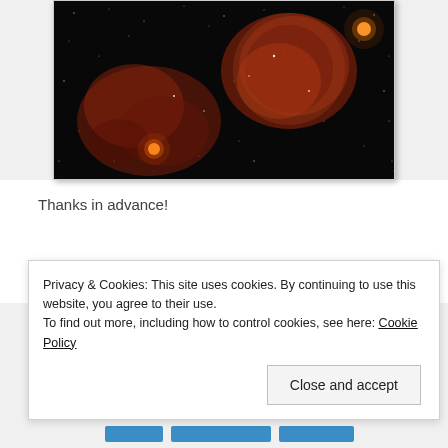[Figure (photo): Astronomical photo showing a dark field of stars with reddish-orange nebula clouds. Bright star visible in lower left and upper right. Deep space astrophotography image.]
Thanks in advance!
Privacy & Cookies: This site uses cookies. By continuing to use this website, you agree to their use.
To find out more, including how to control cookies, see here: Cookie Policy
Close and accept